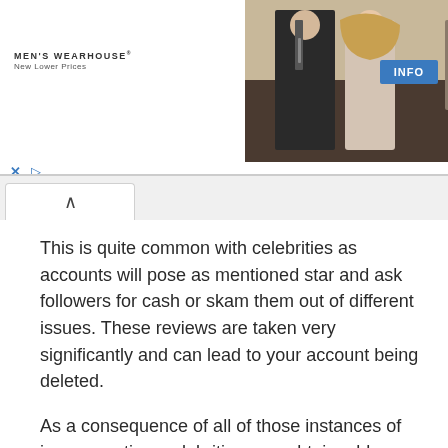[Figure (screenshot): Men's Wearhouse advertisement banner showing a couple in formalwear, a man in a dark suit, and an INFO button]
This is quite common with celebrities as accounts will pose as mentioned star and ask followers for cash or skam them out of different issues. These reviews are taken very significantly and can lead to your account being deleted.
As a consequence of all of those instances of impersonation, celebrities now obtain a blue examine mark subsequent to their account as soon as it's verifed it's actually them.